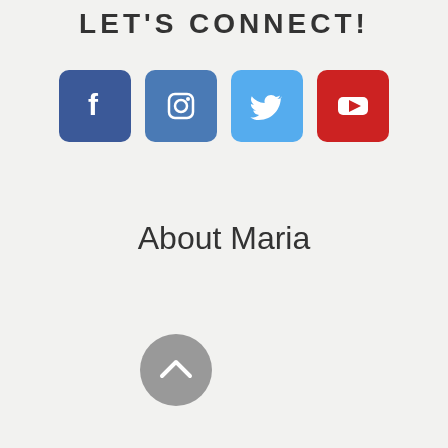LET'S CONNECT!
[Figure (infographic): Four social media icon buttons: Facebook (blue rounded square with 'f'), Instagram (steel blue rounded square with camera icon), Twitter (light blue rounded square with bird icon), YouTube (red rounded square with play button)]
About Maria
[Figure (other): Gray circular scroll-to-top button with upward chevron arrow]